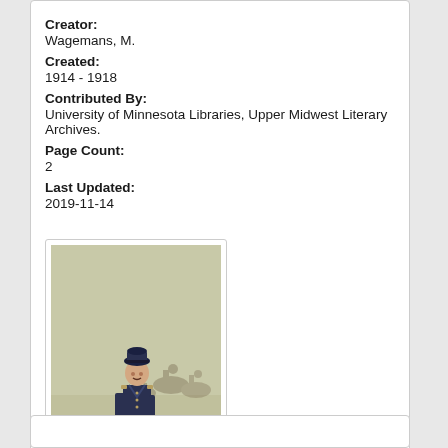Creator:
Wagemans, M.
Created:
1914 - 1918
Contributed By:
University of Minnesota Libraries, Upper Midwest Literary Archives.
Page Count:
2
Last Updated:
2019-11-14
[Figure (illustration): Historical illustration of a WWI-era soldier in dark blue uniform standing with a cane/sword, with horses and riders faintly visible in the background.]